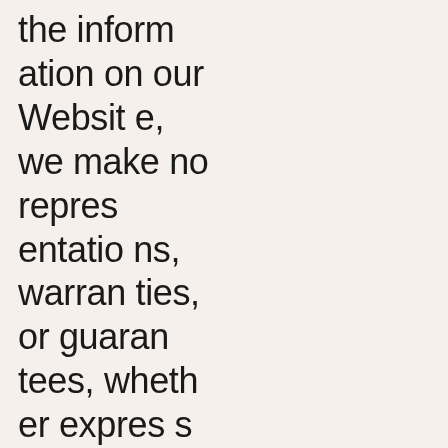the information on our Website, we make no representations, warranties, or guarantees, whether express or